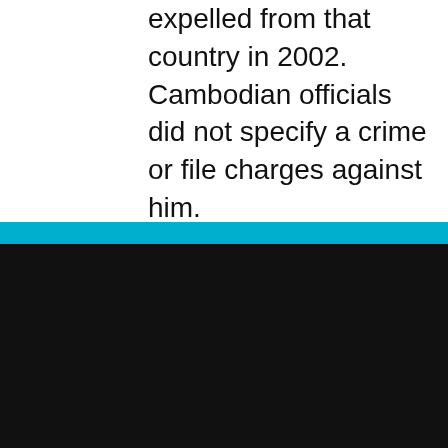expelled from that country in 2002. Cambodian officials did not specify a crime or file charges against him.
COOKIE NOTICE
We utilize cookie technology to collect data regarding the number of visits a person has made to our site. This data is stored in aggregate form and is in no way singled out in an individual file. This information allows us to know what pages/sites are of interest to our users and what pages/sites may be of less interest. See more